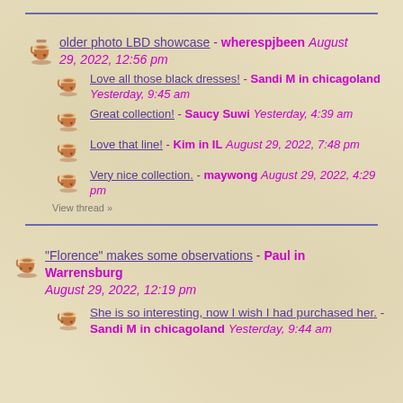older photo LBD showcase - wherespjbeen August 29, 2022, 12:56 pm
Love all those black dresses! - Sandi M in chicagoland Yesterday, 9:45 am
Great collection! - Saucy Suwi Yesterday, 4:39 am
Love that line! - Kim in IL August 29, 2022, 7:48 pm
Very nice collection. - maywong August 29, 2022, 4:29 pm
View thread »
"Florence" makes some observations - Paul in Warrensburg August 29, 2022, 12:19 pm
She is so interesting, now I wish I had purchased her. - Sandi M in chicagoland Yesterday, 9:44 am